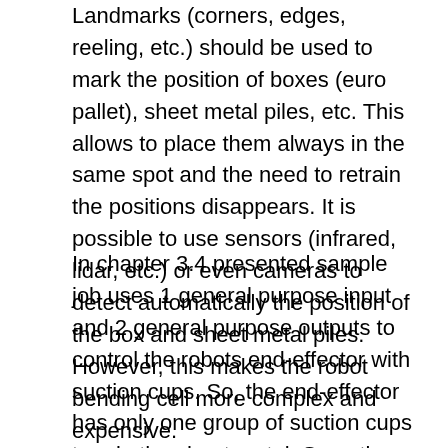Landmarks (corners, edges, reeling, etc.) should be used to mark the position of boxes (euro pallet), sheet metal piles, etc. This allows to place them always in the same spot and the need to retrain the positions disappears. It is possible to use sensors (infrared, lidar, etc.) or even cameras to detect automatically the position of the box and sheet metal piles. However, this makes the robot bending cell more complex and expensive.
In chapter 3.4 presented sample job uses 1 general purpose input and 2 general purpose outputs to control the robots end-effector with suction cups. So, the end-effector has only one group of suction cups to grip the sheet metal. Sometimes the suction cups are divided into 2, 3 or even bigger number of groups allowing to use the same end-effector to grip different size sheet metals (sometimes they may have holes). A hole under the suction cup prevents the formation of a vacuum (too